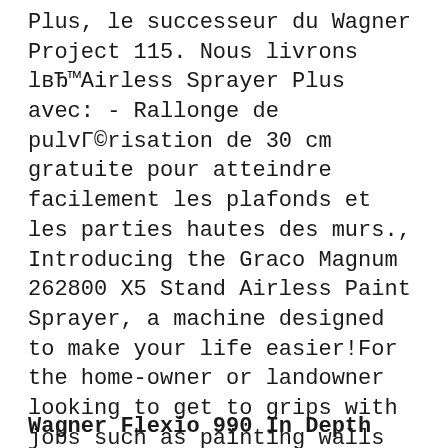Plus, le successeur du Wagner Project 115. Nous livrons lвЂ™Airless Sprayer Plus avec: - Rallonge de pulvГ©risation de 30 cm gratuite pour atteindre facilement les plafonds et les parties hautes des murs., Introducing the Graco Magnum 262800 X5 Stand Airless Paint Sprayer, a machine designed to make your life easier!For the home-owner or landowner looking to get to grips with jobs such as painting walls and fences, or doors and roofs, this airless model from market-leading manufacturer Graco is a perfect choice.. Graco paint sprayers are ideal for fixtures and fittings, too, and for just about.
Wagner Flexio 990 In Depth